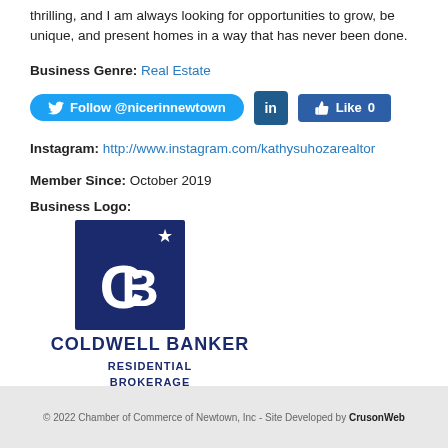thrilling, and I am always looking for opportunities to grow, be unique, and present homes in a way that has never been done.
Business Genre: Real Estate
Follow @nicerinnewtown [LinkedIn] Like 0
Instagram: http://www.instagram.com/kathysuhozarealtor
Member Since: October 2019
Business Logo:
[Figure (logo): Coldwell Banker Residential Brokerage logo - dark blue square with CB monogram and star, text COLDWELL BANKER RESIDENTIAL BROKERAGE below]
© 2022 Chamber of Commerce of Newtown, Inc - Site Developed by CrusonWeb